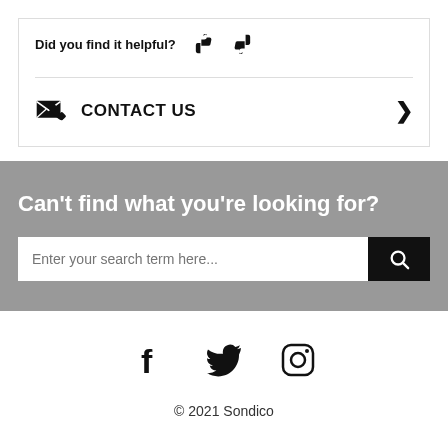Did you find it helpful? 👍 👎
CONTACT US >
Can't find what you're looking for?
Enter your search term here...
[Figure (illustration): Social media icons: Facebook, Twitter, Instagram]
© 2021 Sondico